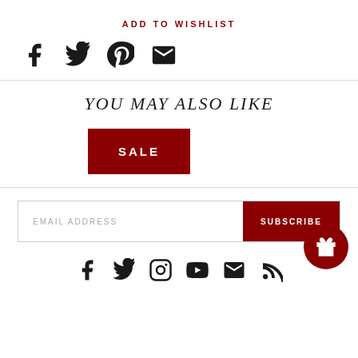ADD TO WISHLIST
[Figure (infographic): Social share icons: Facebook, Twitter, Pinterest, Email]
YOU MAY ALSO LIKE
[Figure (infographic): SALE badge button in dark red]
[Figure (infographic): Email subscription bar with EMAIL ADDRESS placeholder and SUBSCRIBE button, plus gift icon circle]
[Figure (infographic): Footer social icons: Facebook, Twitter, Instagram, YouTube, Email, RSS]